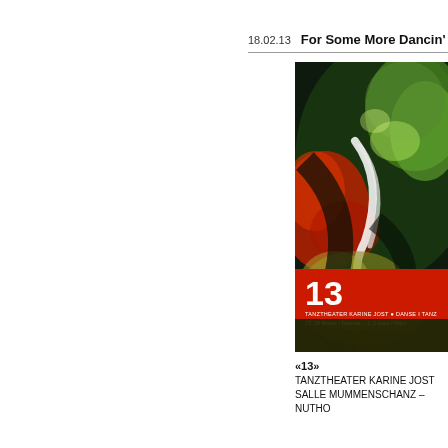18.02.13   For Some More Dancin'
[Figure (photo): Colorful abstract dance theater poster for '13' by Tanztheater Karine Jost with swirling colors of green, red, black, white. Red banner at bottom showing '13', 'TANZTHEATER KARINE JOST', 'DANSE I TANZ', dates '27, 28 février l Februar – 1, 2 mars l März']
«13»
TANZTHEATER KARINE JOST
SALLE MUMMENSCHANZ – NUTH…